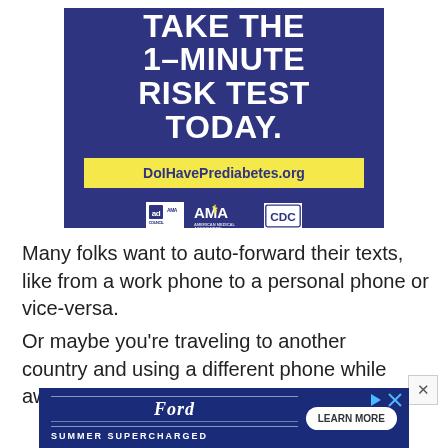[Figure (infographic): Ad banner on dark navy/purple background: large white bold text reading 'TAKE THE 1-MINUTE RISK TEST TODAY.' with a yellow box containing 'DoIHavePrediabetes.org' and logos for Ad Council, AMA (American Medical Association), and CDC.]
Many folks want to auto-forward their texts, like from a work phone to a personal phone or vice-versa.
Or maybe you're traveling to another country and using a different phone while away BUT you still want all you
[Figure (infographic): Bottom advertisement banner: Ford logo in script with horizontal lines above and below, text 'SUMMER SUPERCHARGED' in white uppercase on navy background, and a 'LEARN MORE' button in white pill shape. Play and close icons in top right.]